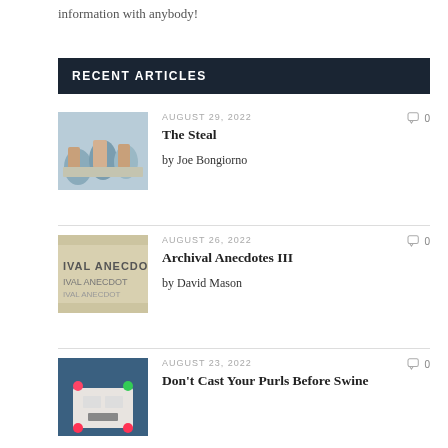information with anybody!
RECENT ARTICLES
AUGUST 29, 2022
The Steal
by Joe Bongiorno
AUGUST 26, 2022
Archival Anecdotes III
by David Mason
AUGUST 23, 2022
Don't Cast Your Purls Before Swine